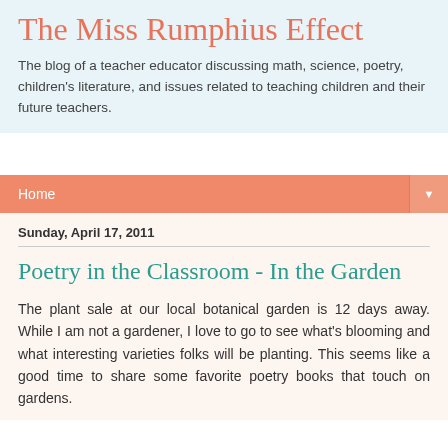The Miss Rumphius Effect
The blog of a teacher educator discussing math, science, poetry, children's literature, and issues related to teaching children and their future teachers.
Home
Sunday, April 17, 2011
Poetry in the Classroom - In the Garden
The plant sale at our local botanical garden is 12 days away. While I am not a gardener, I love to go to see what's blooming and what interesting varieties folks will be planting. This seems like a good time to share some favorite poetry books that touch on gardens.